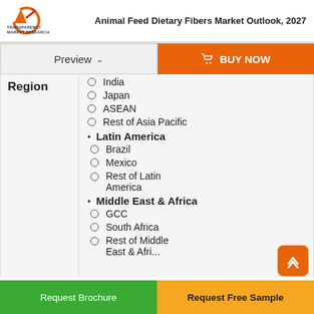Animal Feed Dietary Fibers Market Outlook, 2027
Region
India
Japan
ASEAN
Rest of Asia Pacific
Latin America
Brazil
Mexico
Rest of Latin America
Middle East & Africa
GCC
South Africa
Rest of Middle East & Africa
Request Brochure | Request Free Sample